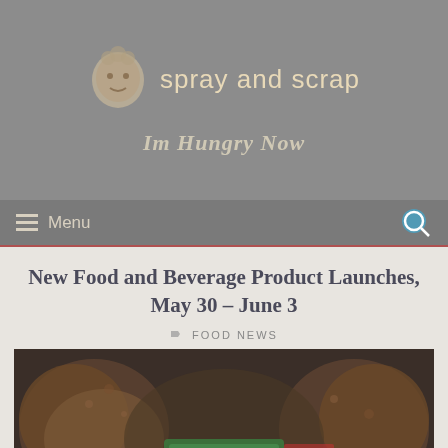spray and scrap
Im Hungry Now
Menu
New Food and Beverage Product Launches, May 30 – June 3
FOOD NEWS
[Figure (photo): Photo of food items, appears to be breaded/fried food with packaging visible, dark background]